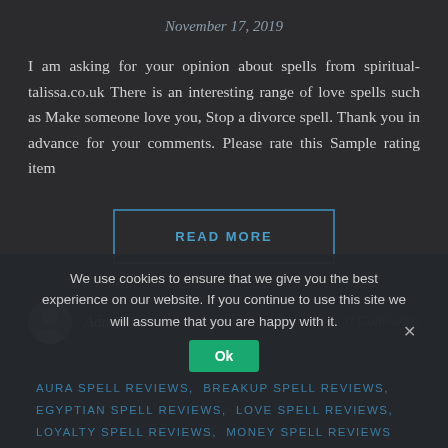November 17, 2019
I am asking for your opinion about spells from spiritual-talissa.co.uk There is an interesting range of love spells such as Make someone love you, Stop a divorce spell. Thank you in advance for your comments. Please rate this Sample rating item
READ MORE
Admin
0 Comments
We use cookies to ensure that we give you the best experience on our website. If you continue to use this site we will assume that you are happy with it.
Ok
AURA SPELL REVIEWS, BREAKUP SPELL REVIEWS, EGYPTIAN SPELL REVIEWS, LOVE SPELL REVIEWS, LOYALTY SPELL REVIEWS, MONEY SPELL REVIEWS